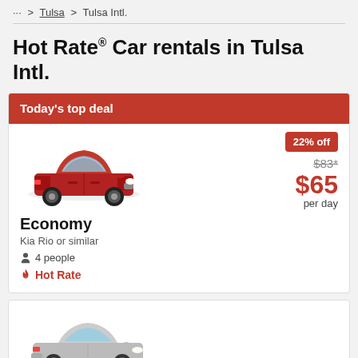... > Tulsa > Tulsa Intl.
Hot Rate® Car rentals in Tulsa Intl.
Today's top deal
[Figure (photo): Red Kia Rio economy car]
Economy
Kia Rio or similar
4 people
🔥 Hot Rate
22% off
$83*
$65
per day
[Figure (photo): Silver sedan economy car (second listing, partially visible)]